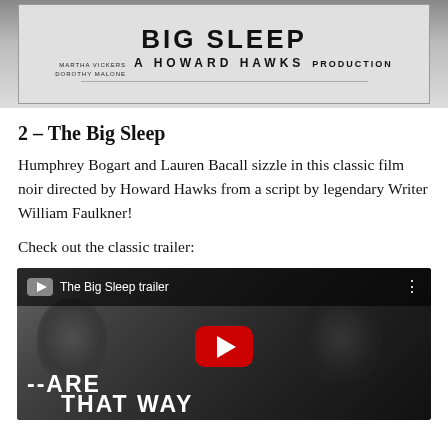[Figure (photo): Movie poster for The Big Sleep featuring bold title text at top, with credits for Martha Vickers, Dorothy Malone, and 'A Howard Hawks Production' in a black and white style]
2 – The Big Sleep
Humphrey Bogart and Lauren Bacall sizzle in this classic film noir directed by Howard Hawks from a script by legendary Writer William Faulkner!
Check out the classic trailer:
[Figure (screenshot): YouTube video embed showing 'The Big Sleep trailer' — a black and white still of two people close together, with YouTube play button overlay and text '...ARE THAT WAY' at the bottom]